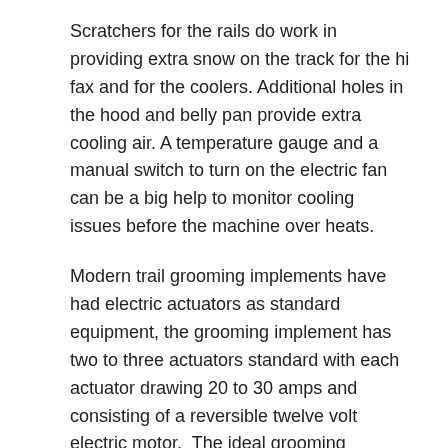Scratchers for the rails do work in providing extra snow on the track for the hi fax and for the coolers. Additional holes in the hood and belly pan provide extra cooling air. A temperature gauge and a manual switch to turn on the electric fan can be a big help to monitor cooling issues before the machine over heats.
Modern trail grooming implements have had electric actuators as standard equipment, the grooming implement has two to three actuators standard with each actuator drawing 20 to 30 amps and consisting of a reversible twelve volt electric motor.  The ideal grooming machine has a twelve volt battery and charging system, able to keep with these electric loads.  Many options are available to wire in your groomer.
You can use a stand alone battery and switch system that is movable form one machine to another. This